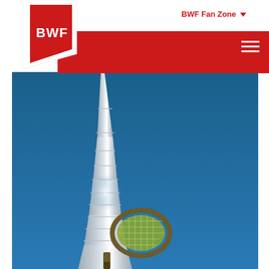BWF Fan Zone
[Figure (logo): BWF logo — white triangular pennant shape with red interior and white BWF text, on white background with red banner bar behind it]
[Figure (photo): Photograph of the Burj Khalifa skyscraper against a deep blue sky, with a badminton racket held up near the base of the tower, creating a visual composition where the racket appears beside the towering spire]